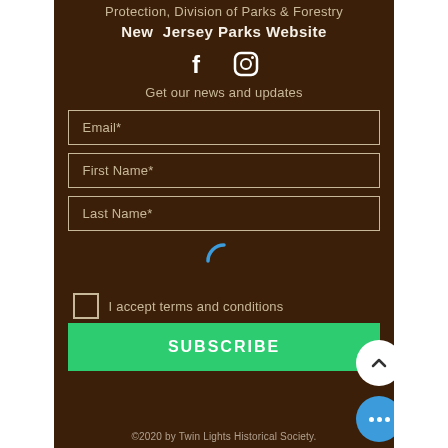Protection, Division of Parks & Forestry
New Jersey Parks Website
[Figure (illustration): Facebook and Instagram social media icons in white]
Get our news and updates
Email*
First Name*
Last Name*
[Figure (illustration): Blue loading spinner arc]
I accept terms and conditions
SUBSCRIBE
©2020 by Twin Lights Historical Society.